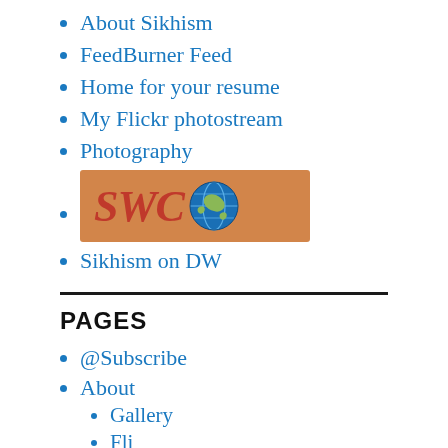About Sikhism
FeedBurner Feed
Home for your resume
My Flickr photostream
Photography
[Figure (logo): SWC logo with orange background, red bold italic text 'SWC' and a globe icon]
Sikhism on DW
PAGES
@Subscribe
About
Gallery
Fli...